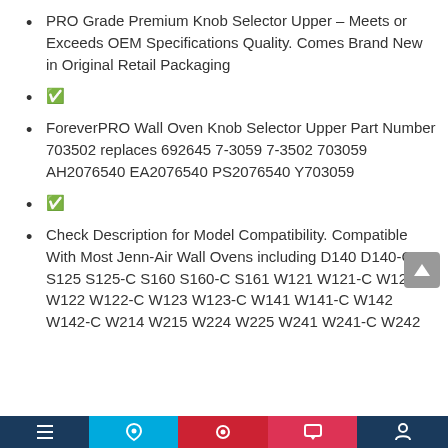PRO Grade Premium Knob Selector Upper – Meets or Exceeds OEM Specifications Quality. Comes Brand New in Original Retail Packaging
&#9989
ForeverPRO Wall Oven Knob Selector Upper Part Number 703502 replaces 692645 7-3059 7-3502 703059 AH2076540 EA2076540 PS2076540 Y703059
&#9989
Check Description for Model Compatibility. Compatible With Most Jenn-Air Wall Ovens including D140 D140-C S125 S125-C S160 S160-C S161 W121 W121-C W121-E W122 W122-C W123 W123-C W141 W141-C W142 W142-C W214 W215 W224 W225 W241 W241-C W242